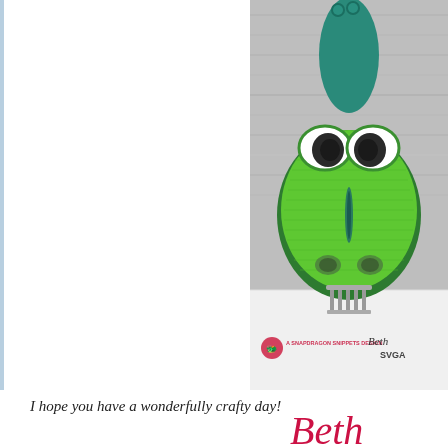[Figure (photo): A crafted 3D paper alligator/crocodile figure made from green cardstock with large googly eyes, teal head piece with green beads on top, a vertical slit nostril, and two dark nostrils at the bottom. The figure sits on a metal holder/stand. Background is gray wood paneling. At the bottom left of the image is a Snapdragon Snippets logo with text 'A SNAPDRAGON SNIPPETS DESIGN' in pink, and at the bottom right is partially visible text 'Beth' and 'SVGA' in dark ink.]
I hope you have a wonderfully crafty day!
[Figure (illustration): Cursive script signature reading 'Beth' in red/crimson color]